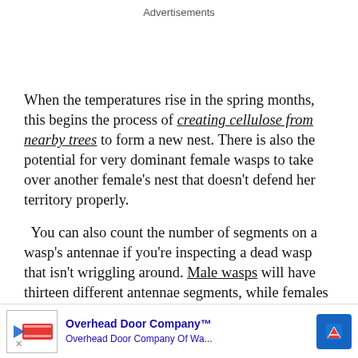Advertisements
When the temperatures rise in the spring months, this begins the process of creating cellulose from nearby trees to form a new nest. There is also the potential for very dominant female wasps to take over another female's nest that doesn't defend her territory properly.

  You can also count the number of segments on a wasp's antennae if you're inspecting a dead wasp that isn't wriggling around. Male wasps will have thirteen different antennae segments, while females
[Figure (infographic): Advertisement banner for Overhead Door Company with logo image, company name 'Overhead Door Company™', subtitle 'Overhead Door Company Of Wa...', blue arrow road sign icon, and close/play controls.]